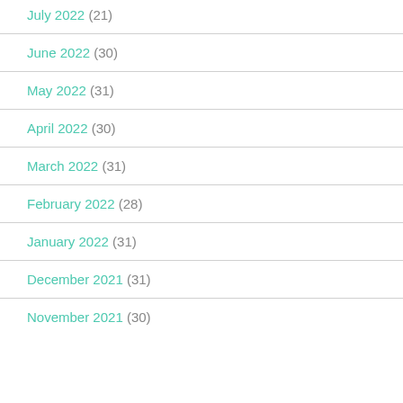July 2022 (21)
June 2022 (30)
May 2022 (31)
April 2022 (30)
March 2022 (31)
February 2022 (28)
January 2022 (31)
December 2021 (31)
November 2021 (30)